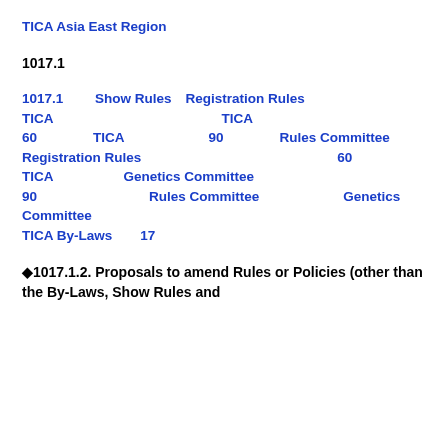TICA Asia East Region
1017.1
1017.1 　　　Show Rules　Registration Rules　　　　　　　　　　　　　　　　　　　　　　　　　　　　　　TICA　　　　　　　　　　　　TICA　　　　　　　　　　　　　　　　　　60　　　　TICA　　　　　　90　　　　Rules Committee　　　　　　　　　　　　　　Registration Rules　　　　　　　　　　　　　　60　　　　TICA　　　　　Genetics Committee　　　　　　　　　　　　　　90　　　　　　　　Rules Committee　　　　　　Genetics Committee　　　　　　　　　　　　　　　　　　　　　　　　　　　　　　　　TICA By-Laws　　17
◆1017.1.2. Proposals to amend Rules or Policies (other than the By-Laws, Show Rules and